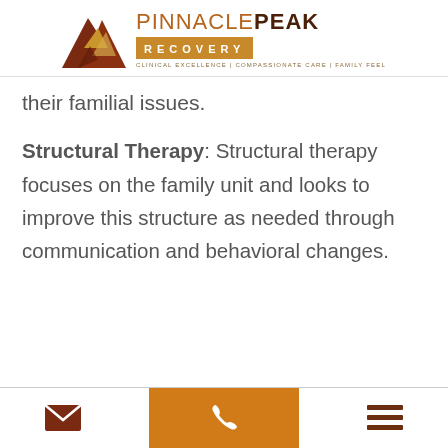PINNACLE PEAK RECOVERY — CLINICAL EXCELLENCE | COMPASSIONATE CARE | FAMILY FEEL
their familial issues.
Structural Therapy: Structural therapy focuses on the family unit and looks to improve this structure as needed through communication and behavioral changes.
Email | Phone | Menu